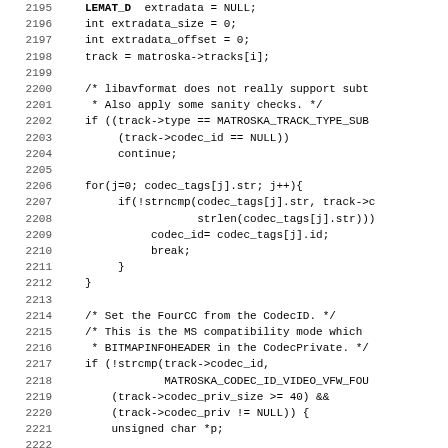[Figure (other): Source code listing in C, lines 2195-2227, showing Matroska/WebM demuxer code with track type checking, codec tag lookup loop, and FourCC/BITMAPINFOHEADER handling.]